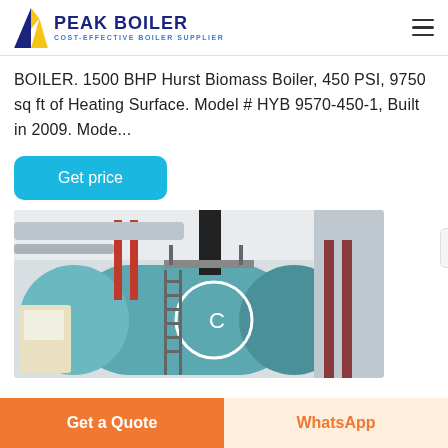PEAK BOILER — COST-EFFECTIVE BOILER SUPPLIER
BOILER. 1500 BHP Hurst Biomass Boiler, 450 PSI, 9750 sq ft of Heating Surface. Model # HYB 9570-450-1, Built in 2009. Mode...
Get price
[Figure (photo): Industrial biomass boiler inside a boiler room, showing a large teal/blue cylindrical boiler body, red pipes, silver ducting, black exhaust stack, and yellow safety markings.]
Get a Quote
WhatsApp